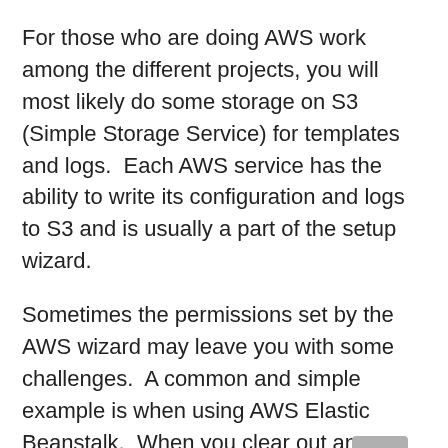For those who are doing AWS work among the different projects, you will most likely do some storage on S3 (Simple Storage Service) for templates and logs.  Each AWS service has the ability to write its configuration and logs to S3 and is usually a part of the setup wizard.
Sometimes the permissions set by the AWS wizard may leave you with some challenges.  A common and simple example is when using AWS Elastic Beanstalk.  When you clear out an Elastic Beanstalk configuration, the S3 bucket is left behind because it is not deleted as part of the removal process.
Normally, we just select the bucket and then